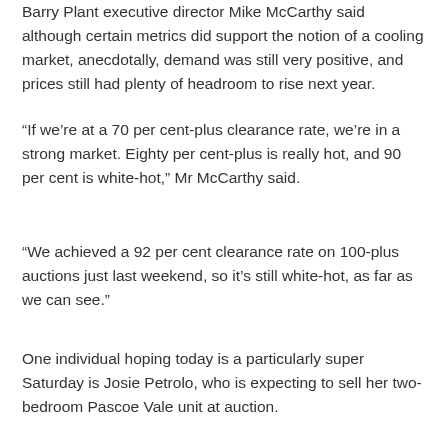Barry Plant executive director Mike McCarthy said although certain metrics did support the notion of a cooling market, anecdotally, demand was still very positive, and prices still had plenty of headroom to rise next year.
“If we’re at a 70 per cent-plus clearance rate, we’re in a strong market. Eighty per cent-plus is really hot, and 90 per cent is white-hot,” Mr McCarthy said.
“We achieved a 92 per cent clearance rate on 100-plus auctions just last weekend, so it’s still white-hot, as far as we can see.”
One individual hoping today is a particularly super Saturday is Josie Petrolo, who is expecting to sell her two-bedroom Pascoe Vale unit at auction.
[Figure (photo): Photograph of a person outdoors near a building with trees in the background]